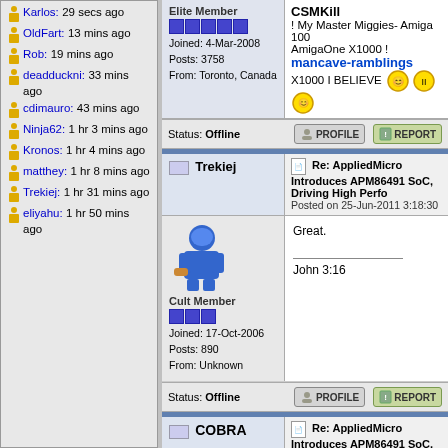Karlos: 29 secs ago
OldFart: 13 mins ago
Rob: 19 mins ago
deadduckni: 33 mins ago
cdimauro: 43 mins ago
Ninja62: 1 hr 3 mins ago
Kronos: 1 hr 4 mins ago
matthey: 1 hr 8 mins ago
Trekiej: 1 hr 31 mins ago
eliyahu: 1 hr 50 mins ago
CSMKill ! My Master Miggies- Amiga 100 AmigaOne X1000 ! mancave-ramblings X1000 I BELIEVE
Elite Member
Joined: 4-Mar-2008
Posts: 3758
From: Toronto, Canada
Status: Offline
Re: AppliedMicro Introduces APM86491 SoC, Driving High Perfo
Posted on 25-Jun-2011 3:18:30
Trekiej
Cult Member
Joined: 17-Oct-2006
Posts: 890
From: Unknown
Status: Offline
Great.
John 3:16
Re: AppliedMicro Introduces APM86491 SoC, Driving High Perfo
Posted on 25-Jun-2011 4:06:51
COBRA
Good chip for a netbook, but I'd see a product based on the APM which has 2 cores at 1.5GHz